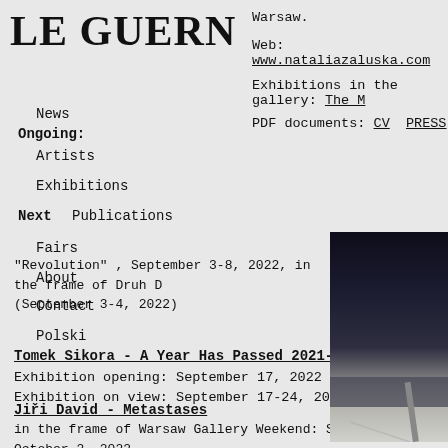Le Guern
Warsaw.
Web: www.nataliazaluska.com
Exhibitions in the gallery: The M
PDF documents: CV  PRESS
News
Ongoing:
Artists
Exhibitions
Next
Publications
Fairs
About
Contact
Polski
"Revolution" , September 3-8, 2022, in the frame of Druh D (September 3-4, 2022)
Tomek Sikora - A Year Has Passed 2021-2022
Exhibition opening: September 17, 2022
Exhibition on view: September 17-24, 2022
Jiři David - Metastases
in the frame of Warsaw Gallery Weekend: September 29 - October 2, 2022
Exhibition on view: September 29 - November 15, 2022
[Figure (photo): Dark abstract photograph with gradient from dark navy/black at top to light grey at bottom, with a vertical bar element]